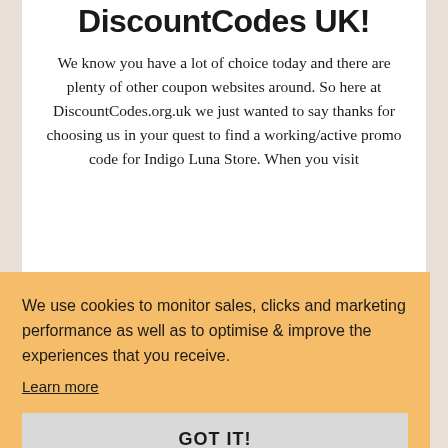DiscountCodes UK!
We know you have a lot of choice today and there are plenty of other coupon websites around. So here at DiscountCodes.org.uk we just wanted to say thanks for choosing us in your quest to find a working/active promo code for Indigo Luna Store. When you visit
We use cookies to monitor sales, clicks and marketing performance as well as to optimise & improve the experiences that you receive.
Learn more
GOT IT!
finding and sorting all the best discounts –